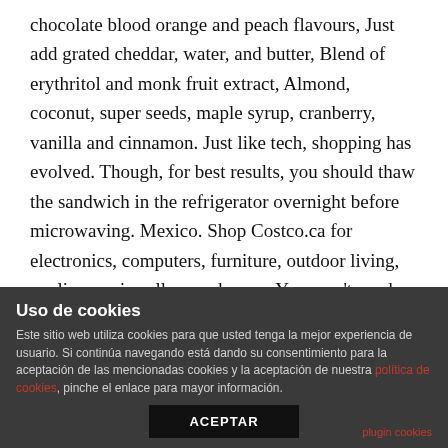chocolate blood orange and peach flavours, Just add grated cheddar, water, and butter, Blend of erythritol and monk fruit extract, Almond, coconut, super seeds, maple syrup, cranberry, vanilla and cinnamon. Just like tech, shopping has evolved. Though, for best results, you should thaw the sandwich in the refrigerator overnight before microwaving. Mexico. Shop Costco.ca for electronics, computers, furniture, outdoor living, appliances, jewellery and more. You won't need my quick thaw instructions if you buy a turkey at Costco! There are great personal assistants and smart home tech to make it even easier for you to save on shopping. Plus, it's so affordable! Orders under $250 (before tax) will be
Uso de cookies
Este sitio web utiliza cookies para que usted tenga la mejor experiencia de usuario. Si continúa navegando está dando su consentimiento para la aceptación de las mencionadas cookies y la aceptación de nuestra política de cookies, pinche el enlace para mayor información.
ACEPTAR
plugin cookies